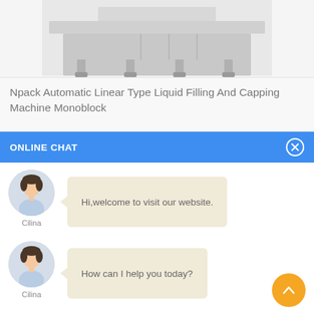[Figure (photo): Partial top view of Npack Automatic Linear Type Liquid Filling And Capping Machine Monoblock, showing stainless steel industrial equipment]
Npack Automatic Linear Type Liquid Filling And Capping Machine Monoblock
ONLINE CHAT
[Figure (illustration): Chat interface with avatar of female customer service representative named Cilina and speech bubble saying: Hi,welcome to visit our website.]
[Figure (illustration): Chat interface with avatar of female customer service representative named Cilina and speech bubble saying: How can I help you today?]